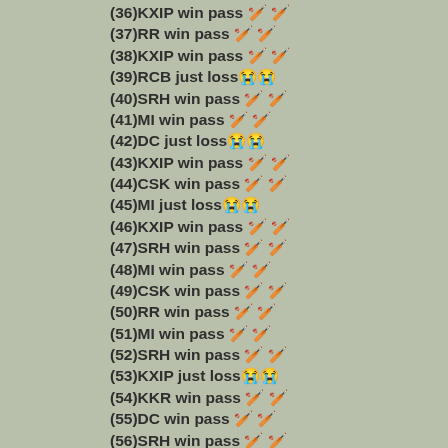(36)KXIP win pass 🏏 🏏
(37)RR win pass 🏏 🏏
(38)KXIP win pass 🏏 🏏
(39)RCB just loss 😢😢
(40)SRH win pass 🏏 🏏
(41)MI win pass 🏏 🏏
(42)DC just loss 😢😢
(43)KXIP win pass 🏏 🏏
(44)CSK win pass 🏏 🏏
(45)MI just loss 😢😢
(46)KXIP win pass 🏏 🏏
(47)SRH win pass 🏏 🏏
(48)MI win pass 🏏 🏏
(49)CSK win pass 🏏 🏏
(50)RR win pass 🏏 🏏
(51)MI win pass 🏏 🏏
(52)SRH win pass 🏏 🏏
(53)KXIP just loss 😢😢
(54)KKR win pass 🏏 🏏
(55)DC win pass 🏏 🏏
(56)SRH win pass 🏏 🏏
(56)MI win pass 🏏 🏏